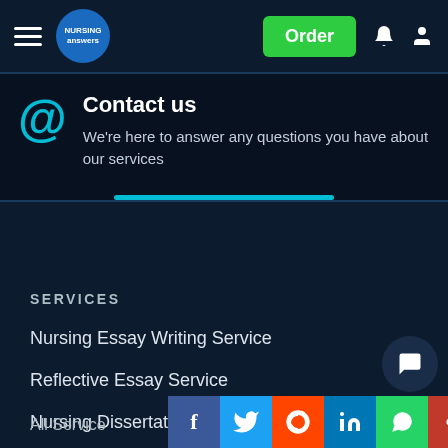Nursing Answers - Order | Notification | Account
Contact us
We're here to answer any questions you have about our services
SERVICES
Nursing Essay Writing Service
Reflective Essay Service
Nursing Dissertation Writing Service
Marking Service
All Service